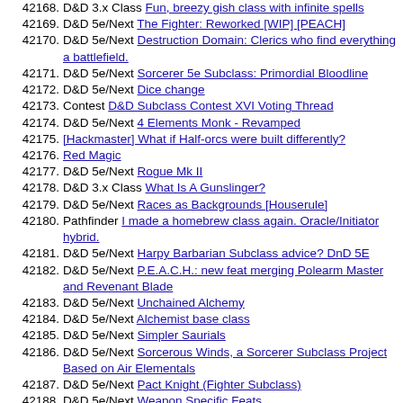42168. D&D 3.x Class Fun, breezy gish class with infinite spells
42169. D&D 5e/Next The Fighter: Reworked [WIP] [PEACH]
42170. D&D 5e/Next Destruction Domain: Clerics who find everything a battlefield.
42171. D&D 5e/Next Sorcerer 5e Subclass: Primordial Bloodline
42172. D&D 5e/Next Dice change
42173. Contest D&D Subclass Contest XVI Voting Thread
42174. D&D 5e/Next 4 Elements Monk - Revamped
42175. [Hackmaster] What if Half-orcs were built differently?
42176. Red Magic
42177. D&D 5e/Next Rogue Mk II
42178. D&D 3.x Class What Is A Gunslinger?
42179. D&D 5e/Next Races as Backgrounds [Houserule]
42180. Pathfinder I made a homebrew class again. Oracle/Initiator hybrid.
42181. D&D 5e/Next Harpy Barbarian Subclass advice? DnD 5E
42182. D&D 5e/Next P.E.A.C.H.: new feat merging Polearm Master and Revenant Blade
42183. D&D 5e/Next Unchained Alchemy
42184. D&D 5e/Next Alchemist base class
42185. D&D 5e/Next Simpler Saurials
42186. D&D 5e/Next Sorcerous Winds, a Sorcerer Subclass Project Based on Air Elementals
42187. D&D 5e/Next Pact Knight (Fighter Subclass)
42188. D&D 5e/Next Weapon Specific Feats
42189. D&D 5e/Next Request: Lich Template Class
42190. Pathfinder Warlock Homebrow looking for critique